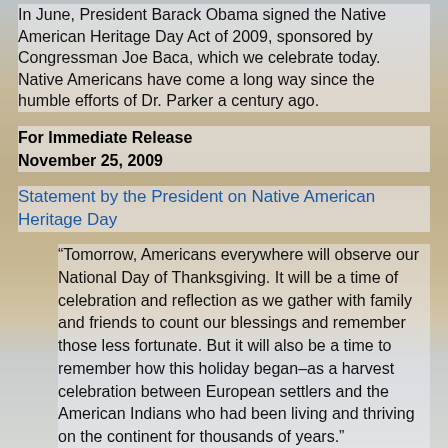In June, President Barack Obama signed the Native American Heritage Day Act of 2009, sponsored by Congressman Joe Baca, which we celebrate today. Native Americans have come a long way since the humble efforts of Dr. Parker a century ago.
For Immediate Release
November 25, 2009
Statement by the President on Native American Heritage Day
“Tomorrow, Americans everywhere will observe our National Day of Thanksgiving. It will be a time of celebration and reflection as we gather with family and friends to count our blessings and remember those less fortunate. But it will also be a time to remember how this holiday began–as a harvest celebration between European settlers and the American Indians who had been living and thriving on the continent for thousands of years.”
“That is why on Friday, I encourage every American to